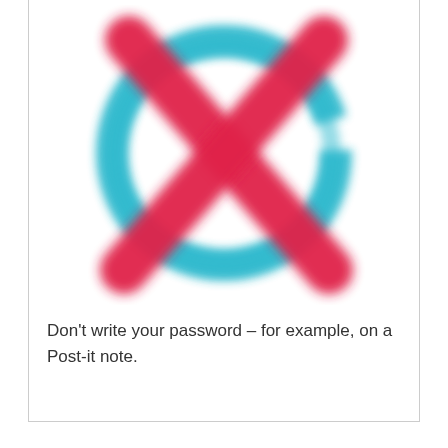[Figure (illustration): A teal/cyan hand-drawn circle with a bold red X drawn over it, suggesting a prohibition or 'do not' symbol, rendered in a sketchy, marker-drawn style.]
Don't write your password – for example, on a Post-it note.